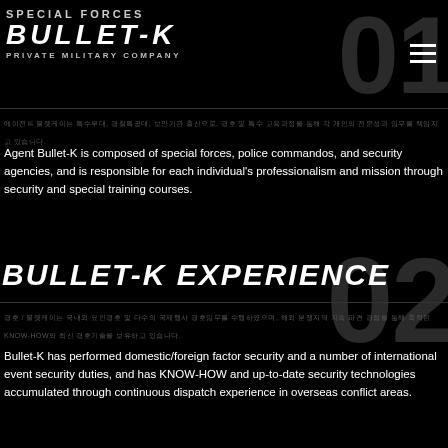SPECIAL FORCES BULLET-K PRIVATE MILITARY COMPANY
Agent Bullet-K is composed of special forces, police commandos, and security agencies, and is responsible for each individual's professionalism and mission through security and special training courses.
BULLET-K EXPERIENCE
Bullet-K has performed domestic/foreign factor security and a number of international event security duties, and has KNOW-HOW and up-to-date security technologies accumulated through continuous dispatch experience in overseas conflict areas.